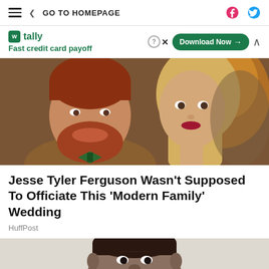≡  < GO TO HOMEPAGE
[Figure (infographic): Tally app advertisement banner: 'Fast credit card payoff' with Download Now button]
[Figure (photo): Jesse Tyler Ferguson and Sarah Hyland smiling at camera, man with red beard wearing green bow tie and brown jacket, woman with blonde hair]
Jesse Tyler Ferguson Wasn't Supposed To Officiate This 'Modern Family' Wedding
HuffPost
[Figure (photo): Partial photo of a man's face, dark complexion, cropped at bottom of page]